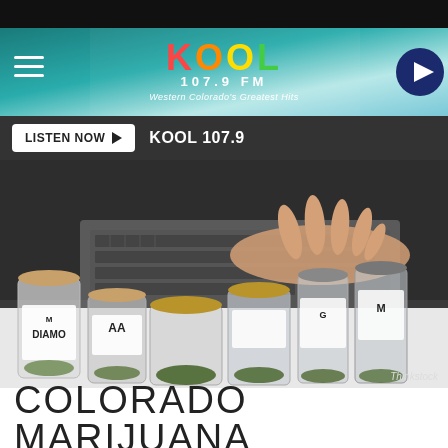[Figure (screenshot): KOOL 107.9 FM radio station website header with teal/cyan gradient background, hamburger menu on left, KOOL logo in center with colorful letters, play button on right]
LISTEN NOW ▶   KOOL 107.9
[Figure (photo): A hand reaching toward a row of marijuana product jars labeled with M and DIAMO branding, placed in front of a laptop keyboard. Photo credit: Thinkstock]
COLORADO MARIJUANA